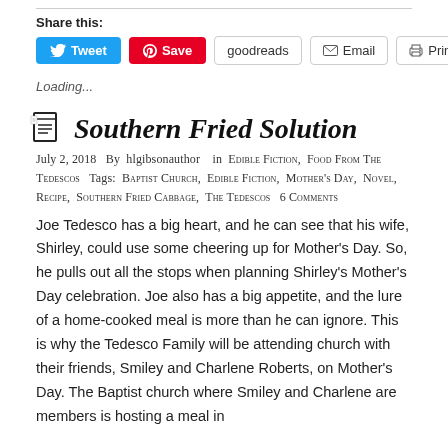Share this:
[Figure (infographic): Social sharing buttons: Tweet (Twitter blue), Save (Pinterest red), goodreads (outlined), Email (outlined with envelope icon), Print (outlined with printer icon)]
Loading...
Southern Fried Solution
July 2, 2018  By  hlgibsonauthor   in  Edible Fiction, Food From The Tedescos  Tags: Baptist Church, Edible Fiction, Mother's Day, Novel, Recipe, Southern Fried Cabbage, The Tedescos  6 Comments
Joe Tedesco has a big heart, and he can see that his wife, Shirley, could use some cheering up for Mother's Day. So, he pulls out all the stops when planning Shirley's Mother's Day celebration. Joe also has a big appetite, and the lure of a home-cooked meal is more than he can ignore. This is why the Tedesco Family will be attending church with their friends, Smiley and Charlene Roberts, on Mother's Day. The Baptist church where Smiley and Charlene are members is hosting a meal in